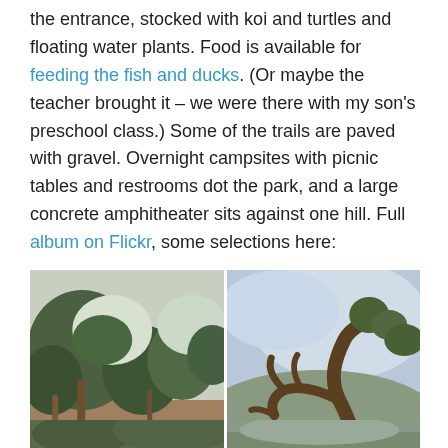the entrance, stocked with koi and turtles and floating water plants. Food is available for feeding the fish and ducks. (Or maybe the teacher brought it – we were there with my son's preschool class.) Some of the trails are paved with gravel. Overnight campsites with picnic tables and restrooms dot the park, and a large concrete amphitheater sits against one hill. Full album on Flickr, some selections here:
[Figure (photo): Left photo: Trees and green shrubs in a park setting with dirt ground. Right photo: Gnarled twisted tree branches against a cloudy sky with a view of distant hills.]
[Figure (photo): Bottom row: Two more park photos, partially visible at the bottom of the page.]